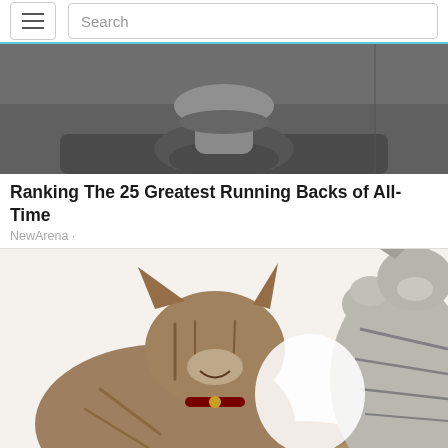Navigation bar with hamburger menu and Search input
[Figure (photo): Black and white photo of a person, cropped showing lower face/neck/shoulders]
Ranking The 25 Greatest Running Backs of All-Time
NewArena ·
[Figure (photo): Color photo of two cats facing each other fighting/playing on white background]